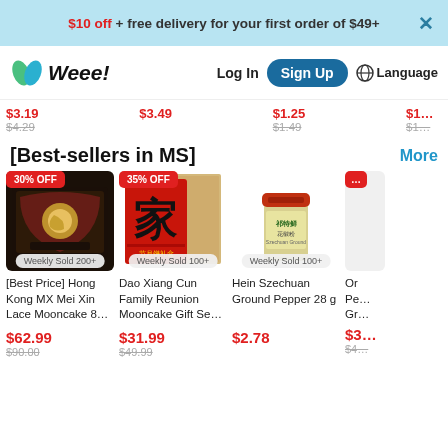$10 off + free delivery for your first order of $49+
[Figure (logo): Weee! logo with green leaf icon]
Log In  Sign Up  Language
$3.19  $3.49  $1.25  $1…  $4.29  $1.49  $1…
Best-sellers in MS
More
[Figure (photo): Hong Kong MX Mei Xin Lace Mooncake box with 30% OFF badge, Weekly Sold 200+]
[Figure (photo): Dao Xiang Cun Family Reunion Mooncake Gift Set red box with Chinese character, 35% OFF badge, Weekly Sold 100+]
[Figure (photo): Hein Szechuan Ground Pepper 28g spice jar, Weekly Sold 100+]
[Best Price] Hong Kong MX Mei Xin Lace Mooncake 8…
$62.99
$90.00
Dao Xiang Cun Family Reunion Mooncake Gift Se…
$31.99
$49.99
Hein Szechuan Ground Pepper 28 g
$2.78